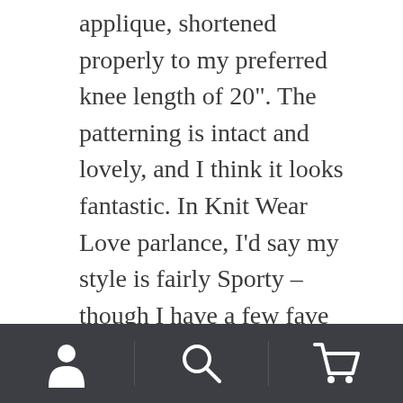applique, shortened properly to my preferred knee length of 20". The patterning is intact and lovely, and I think it looks fantastic. In Knit Wear Love parlance, I'd say my style is fairly Sporty – though I have a few fave Classic and Bohemian pieces I wear a lot too. The pictures above show how I'll wear the skirt in my daily life.
…But I couldn't help playing around with the Knit Wear Love sweaters, and I noticed that the skirt looked phenomenal
[Figure (other): Mobile app bottom navigation bar with three icons: user/profile icon on the left, search/magnifying glass icon in the center, and shopping cart icon on the right, on a dark gray background with vertical dividers between sections.]